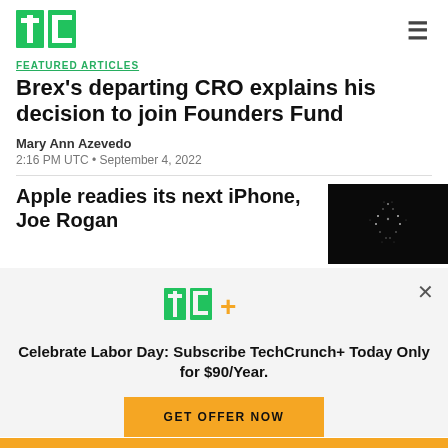[Figure (logo): TechCrunch TC green logo]
Featured Articles
Brex's departing CRO explains his decision to join Founders Fund
Mary Ann Azevedo
2:16 PM UTC • September 4, 2022
Apple readies its next iPhone, Joe Rogan
[Figure (photo): Dark image with Apple logo made of sparkles/dots]
[Figure (logo): TC+ TechCrunch Plus logo in green and yellow]
Celebrate Labor Day: Subscribe TechCrunch+ Today Only for $90/Year.
GET OFFER NOW